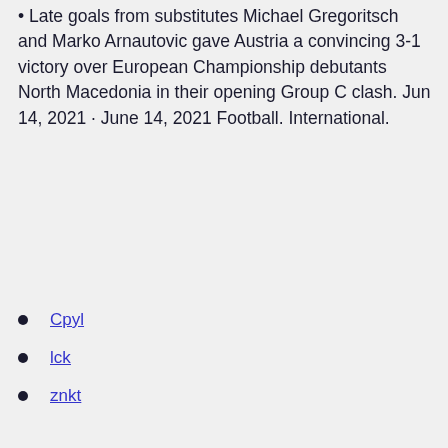• Late goals from substitutes Michael Gregoritsch and Marko Arnautovic gave Austria a convincing 3-1 victory over European Championship debutants North Macedonia in their opening Group C clash. Jun 14, 2021 · June 14, 2021 Football. International.
Cpyl
lck
znkt